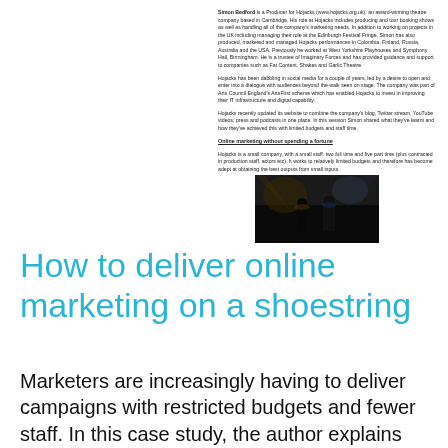Simon Bedtord is a Producer for Hojacks (www.hojacks.org.uk), an award-winning theatre company based in Cambridge. His role at Hojacks includes producing and tour booking shows as well as handling all of the company's marketing needs. In addition to working on projects in the UK including managing their role at the Edinburgh Festival Fringe, Simon has also produced, marketed and managed Hojacks performances in Colombia, Finland, Russia, Australia and the USA. Previously he worked at West Yorkshire Playhouses and Symphony Hall, Birmingham. He is a trustee of Imaginary Forces and has provided guidance and support to companies such as Fat Content, Shakes and Garlic Theatre.

Hojacks has been dabbling in social media for a couple of years, led by a desire to open and enter into a dialogue with audiences beyond the walk seen on stage. The company was part of Arts Council England's ArtsFirst scheme which has enabled Hojacks to invest in improving their IT infrastructure and digital capability.

Hojacks recently updated its website to combine the company's blog, Twitter stream, YouTube videos, press and podcasts in one place. In this session Simon shared what they've learnt and how they've achieved this with limited budgets and staff time.
Online marketing without spending a fortune
Hojacks is a small company, with a small staff: two full time and five part time (plus contracted in production staff, actors etc). It works to relatively limited budgets and therefore has become adept at obtaining the best outputs from small inputs.
[Figure (photo): Dark photograph showing silhouettes of performers on stage with dramatic lighting, appears to be a theatre production]
How to deliver online marketing on a shoestring
Marketers are increasingly having to deliver campaigns with restricted budgets and fewer staff. In this case study, the author explains how their